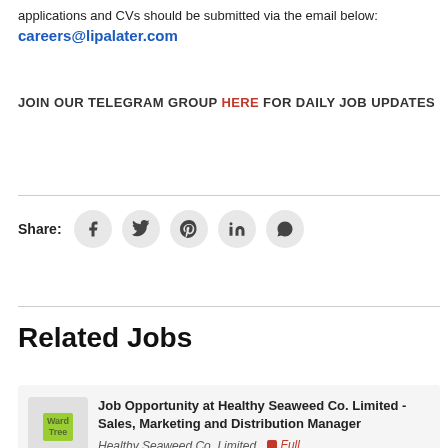applications and CVs should be submitted via the email below:
careers@lipalater.com
JOIN OUR TELEGRAM GROUP HERE FOR DAILY JOB UPDATES
[Figure (infographic): Social share icons row: Facebook, Twitter, Pinterest, LinkedIn, WhatsApp — each in a grey circle. Label 'Share:' on the left.]
Related Jobs
Job Opportunity at Healthy Seaweed Co. Limited -Sales, Marketing and Distribution Manager
Healthy Seaweed Co. Limited  Full